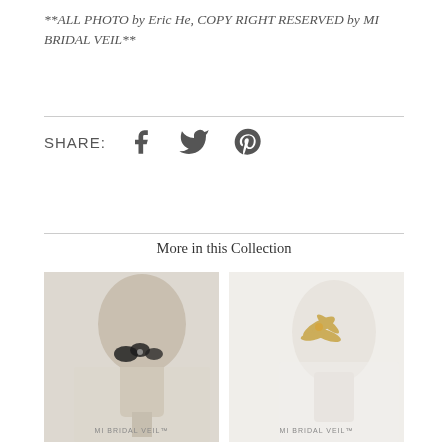**ALL PHOTO by Eric He, COPY RIGHT RESERVED by MI BRIDAL VEIL**
[Figure (infographic): Share icons row with label SHARE: followed by Facebook, Twitter, and Pinterest social media icons in dark grey]
More in this Collection
[Figure (photo): Bridal veil displayed on a mannequin head form with black floral lace decoration, beige/neutral background. MI BRIDAL VEIL watermark at bottom.]
[Figure (photo): Bridal veil displayed on a mannequin head form with gold metallic floral embellishment, white background. MI BRIDAL VEIL watermark at bottom.]